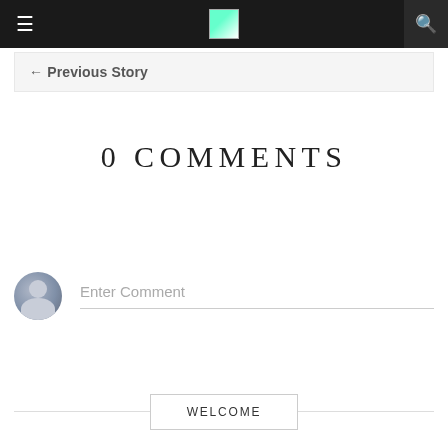≡  [logo]  🔍
← Previous Story
0 COMMENTS
[Figure (illustration): User avatar icon — grey silhouette circle with head and shoulders shape, next to an 'Enter Comment' input field with a bottom border underline]
WELCOME